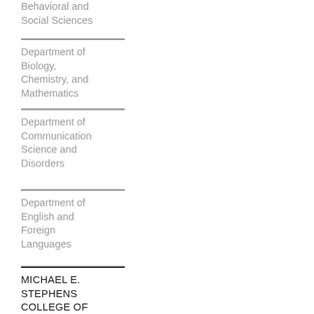Behavioral and Social Sciences
Department of Biology, Chemistry, and Mathematics
Department of Communication Science and Disorders
Department of English and Foreign Languages
MICHAEL E. STEPHENS COLLEGE OF BUSINESS